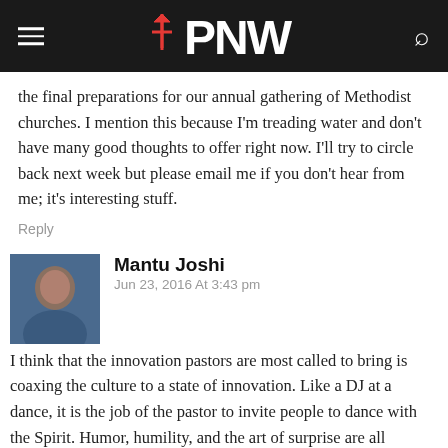PNW
the final preparations for our annual gathering of Methodist churches. I mention this because I'm treading water and don't have many good thoughts to offer right now. I'll try to circle back next week but please email me if you don't hear from me; it's interesting stuff.
Reply
Mantu Joshi
Jun 23, 2016 At 3:43 pm
I think that the innovation pastors are most called to bring is coaxing the culture to a state of innovation. Like a DJ at a dance, it is the job of the pastor to invite people to dance with the Spirit. Humor, humility, and the art of surprise are all